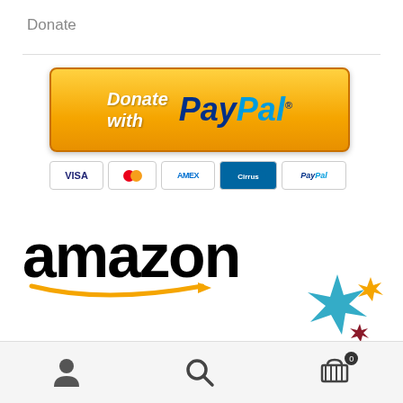Donate
[Figure (logo): Donate with PayPal button with payment method icons (Visa, Mastercard, Amex, Cirrus, PayPal)]
[Figure (logo): Amazon logo with smile arrow and partial 'wishlist' text with sparkle stars graphic]
[Figure (other): Bottom navigation bar with user icon, search icon, and cart icon with badge showing 0]